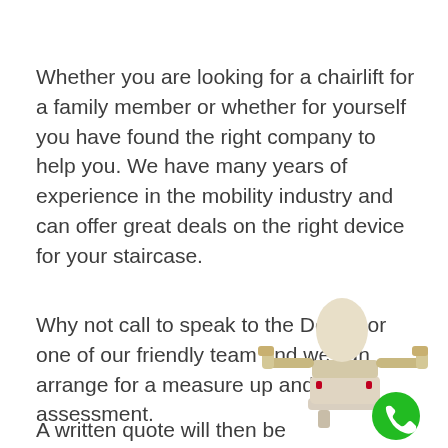Whether you are looking for a chairlift for a family member or whether for yourself you have found the right company to help you. We have many years of experience in the mobility industry and can offer great deals on the right device for your staircase.
Why not call to speak to the Doctor or one of our friendly team and we can arrange for a measure up and stairs assessment.
[Figure (photo): A stairlift chair (cream/beige colored) with armrests extended, mounted on a rail. A green circle with a white phone icon is overlaid at the bottom right of the image.]
A written quote will then be